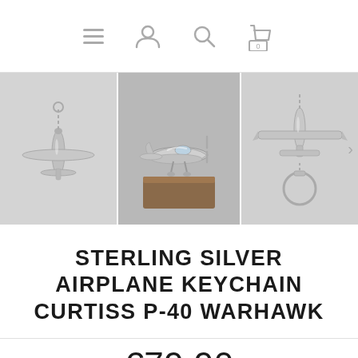Navigation bar with menu, user, search, and cart (0) icons
[Figure (photo): Three-panel product image strip showing a sterling silver airplane keychain (Curtiss P-40 Warhawk) from different angles: left panel shows top-down view with chain, center panel shows detailed side view of the silver airplane model on a wooden block, right panel shows front view of keychain with ring.]
STERLING SILVER AIRPLANE KEYCHAIN CURTISS P-40 WARHAWK
€79.90